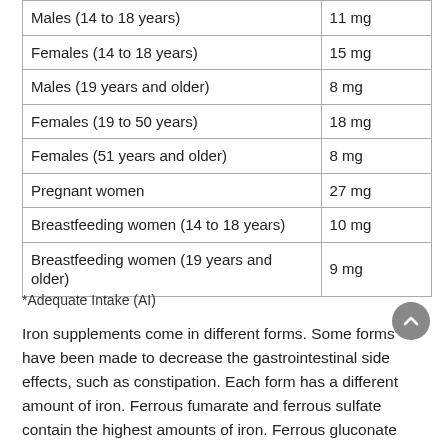| Males (14 to 18 years) | 11 mg |
| Females (14 to 18 years) | 15 mg |
| Males (19 years and older) | 8 mg |
| Females (19 to 50 years) | 18 mg |
| Females (51 years and older) | 8 mg |
| Pregnant women | 27 mg |
| Breastfeeding women (14 to 18 years) | 10 mg |
| Breastfeeding women (19 years and older) | 9 mg |
*Adequate Intake (AI)
Iron supplements come in different forms. Some forms have been made to decrease the gastrointestinal side effects, such as constipation. Each form has a different amount of iron. Ferrous fumarate and ferrous sulfate contain the highest amounts of iron. Ferrous gluconate has the lowest.